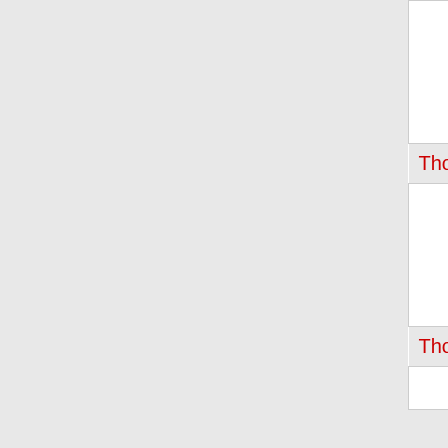| NPA-NXX | State | Company | OCN |  |
| --- | --- | --- | --- | --- |
| 573-684-0 | MO | CENTURYLINK COMMUNICATIONS, LL (CenturyLink, Inc) | 508J |  |
| Thousands block for 573-685 |  |  |  |  |
| 573-685-7 | MO | CENTURYLINK COMMUNICATIONS, LL (CenturyLink, Inc) | 508J |  |
| Thousands block for 573-687 |  |  |  |  |
| 573- | MO | CENTURYLINK | 508J |  |